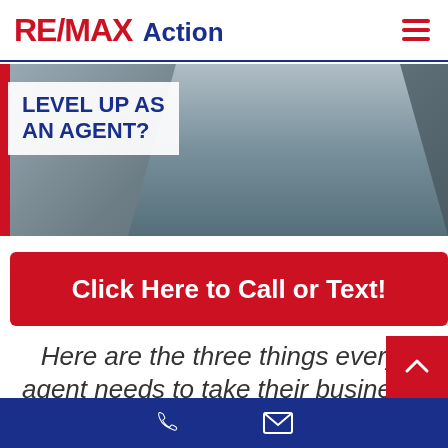RE/MAX Action
[Figure (photo): Photo of a man in a suit and tie, with text overlay reading 'LEVEL UP AS AN AGENT?' on a white box with a red left accent bar]
Click Here to Call or Text!
Here are the three things every agent needs to take their business further.
Phone and email contact icons on dark blue bar